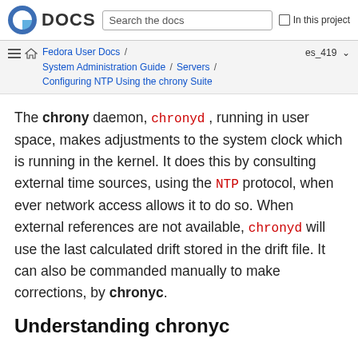Fedora DOCS | Search the docs | In this project
Fedora User Docs / System Administration Guide / Servers / Configuring NTP Using the chrony Suite | es_419
The chrony daemon, chronyd, running in user space, makes adjustments to the system clock which is running in the kernel. It does this by consulting external time sources, using the NTP protocol, when ever network access allows it to do so. When external references are not available, chronyd will use the last calculated drift stored in the drift file. It can also be commanded manually to make corrections, by chronyc.
Understanding chronyc